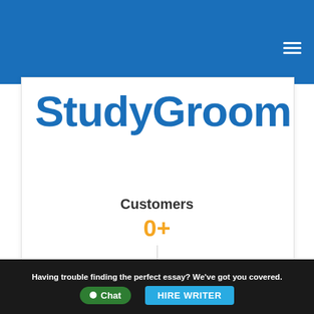[Figure (logo): StudyGroom website screenshot with blue header bar and hamburger menu]
StudyGroom
Customers
0+
Having trouble finding the perfect essay? We've got you covered.  HIRE WRITER  Chat